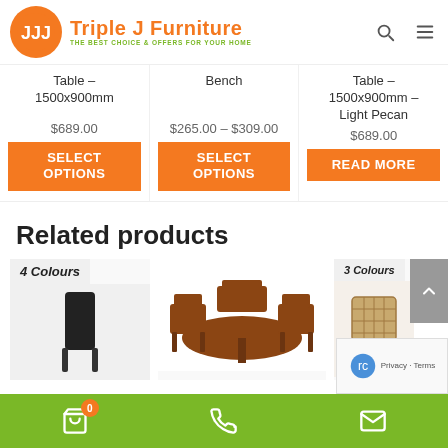[Figure (logo): Triple J Furniture logo - orange circle with JJJ letters, orange and green brand text]
Table – 1500x900mm
$689.00
SELECT OPTIONS
Bench
$265.00 – $309.00
SELECT OPTIONS
Table – 1500x900mm – Light Pecan
$689.00
READ MORE
Related products
4 Colours
[Figure (photo): Black high-back chair]
[Figure (photo): Wooden dining table with chairs]
3 Colours
[Figure (photo): Wicker/rattan chair]